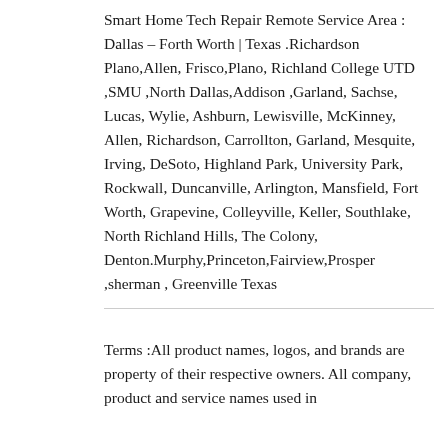Smart Home Tech Repair Remote Service Area : Dallas – Forth Worth | Texas .Richardson Plano,Allen, Frisco,Plano, Richland College UTD ,SMU ,North Dallas,Addison ,Garland, Sachse, Lucas, Wylie, Ashburn, Lewisville, McKinney, Allen, Richardson, Carrollton, Garland, Mesquite, Irving, DeSoto, Highland Park, University Park, Rockwall, Duncanville, Arlington, Mansfield, Fort Worth, Grapevine, Colleyville, Keller, Southlake, North Richland Hills, The Colony, Denton.Murphy,Princeton,Fairview,Prosper ,sherman , Greenville Texas
Terms :All product names, logos, and brands are property of their respective owners. All company, product and service names used in